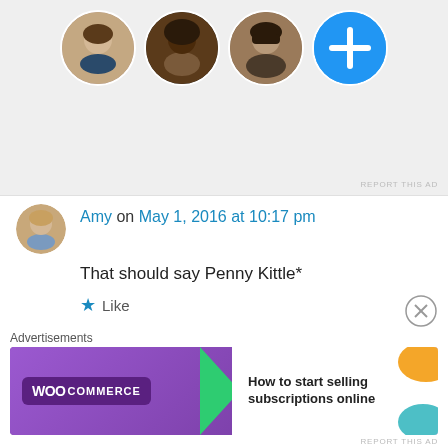[Figure (screenshot): Top ad banner with four circular profile photos (three real, one blue plus button) on grey background, with 'REPORT THIS AD' text in bottom right corner.]
Amy on May 1, 2016 at 10:17 pm
That should say Penny Kittle*
★ Like
↳ Reply
Paul Stoddard on May 1, 2016 at 8:18 pm
I really enjoyed reading this blog post as a
Advertisements
[Figure (screenshot): WooCommerce advertisement banner: 'How to start selling subscriptions online']